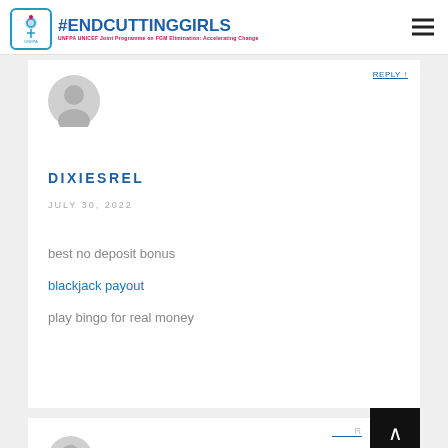#ENDCUTTINGGIRLS — UNFPA UNICEF Joint Programme on FGM Elimination: Accelerating Change
[Figure (illustration): Default user avatar circle icon (gray silhouette) for comment author]
DIXIESREL
JULY 30, 2022
best no deposit bonus
blackjack payout
play bingo for real money
[Figure (illustration): Default user avatar circle icon (gray silhouette) for second comment author, partially visible at bottom]